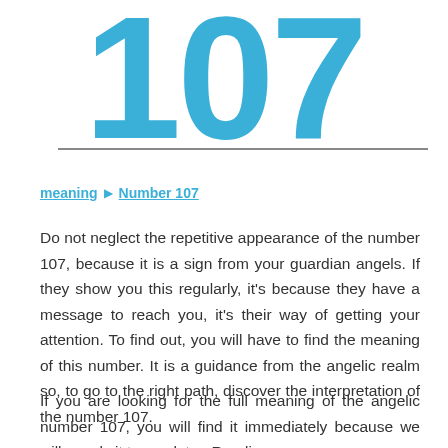[Figure (other): Large decorative number '107' in bold cyan/teal color at the top of the page]
meaning ▶ Number 107
Do not neglect the repetitive appearance of the number 107, because it is a sign from your guardian angels. If they show you this regularly, it's because they have a message to reach you, it's their way of getting your attention. To find out, you will have to find the meaning of this number. It is a guidance from the angelic realm so, to go to the right path, discover the interpretation of the number 107.
If you are looking for the full meaning of the angelic number 107, you will find it immediately because we will supply it to you later. Reading